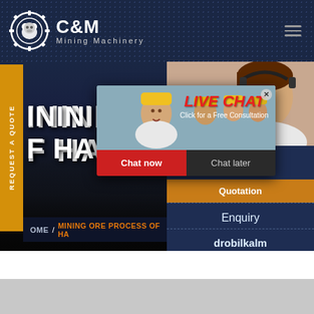[Figure (screenshot): C&M Mining Machinery website screenshot showing header with gear logo, live chat popup overlay with workers in hard hats, right panel with customer service agent, quotation/enquiry buttons, and email contact.]
C&M Mining Machinery
LIVE CHAT - Click for a Free Consultation
Chat now | Chat later
HOME / MINING ORE PROCESS OF HA
REQUEST A QUOTE
ave any requests, ick here.
Quotation
Enquiry
drobilkalm@gmail.com